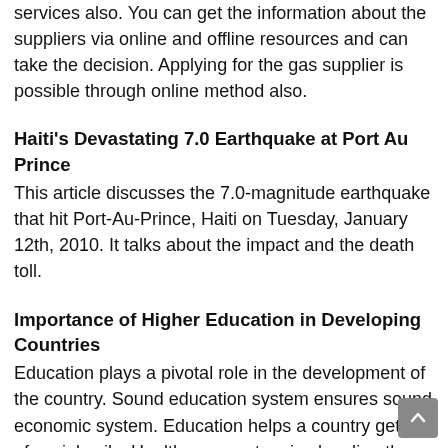services also. You can get the information about the suppliers via online and offline resources and can take the decision. Applying for the gas supplier is possible through online method also.
Haiti's Devastating 7.0 Earthquake at Port Au Prince
This article discusses the 7.0-magnitude earthquake that hit Port-Au-Prince, Haiti on Tuesday, January 12th, 2010. It talks about the impact and the death toll.
Importance of Higher Education in Developing Countries
Education plays a pivotal role in the development of the country. Sound education system ensures sound economic system. Education helps a country get rid of social evils. Health care system is also directly linked with an education system. The overall development depends upon education agriculture, industry, defense, etc.